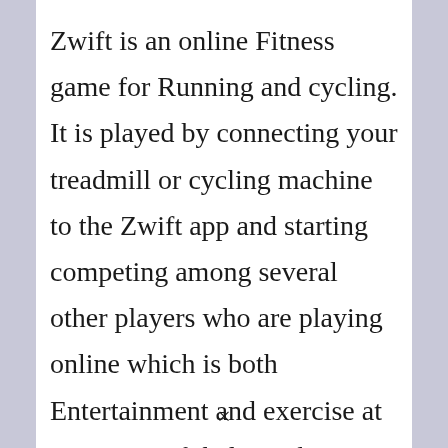Zwift is an online Fitness game for Running and cycling. It is played by connecting your treadmill or cycling machine to the Zwift app and starting competing among several other players who are playing online which is both Entertainment and exercise at a time. Zwift helps to keep track of the number of hours of workout
×